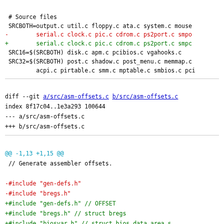# Source files
 SRCBOTH=output.c util.c floppy.c ata.c system.c mouse
-        serial.c clock.c pic.c cdrom.c ps2port.c smpo
+        serial.c clock.c pic.c cdrom.c ps2port.c smpc
 SRC16=$(SRCBOTH) disk.c apm.c pcibios.c vgahooks.c
 SRC32=$(SRCBOTH) post.c shadow.c post_menu.c memmap.c
         acpi.c pirtable.c smm.c mptable.c smbios.c pci
diff --git a/src/asm-offsets.c b/src/asm-offsets.c
index 8f17c04..1e3a293 100644
--- a/src/asm-offsets.c
+++ b/src/asm-offsets.c
@@ -1,13 +1,15 @@
 // Generate assembler offsets.

-#include "gen-defs.h"
-#include "bregs.h"
+#include "gen-defs.h" // OFFSET
+#include "bregs.h" // struct bregs
+#include "biosvar.h" // struct bios_data_area_s